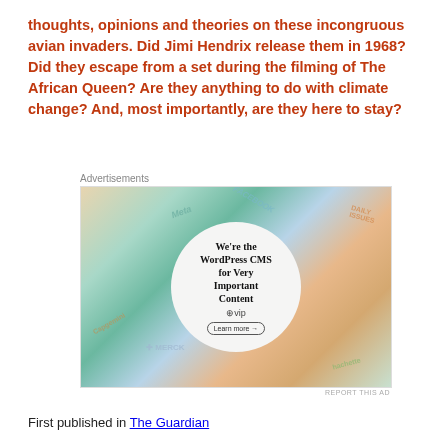thoughts, opinions and theories on these incongruous avian invaders. Did Jimi Hendrix release them in 1968? Did they escape from a set during the filming of The African Queen? Are they anything to do with climate change? And, most importantly, are they here to stay?
[Figure (screenshot): Advertisement for WordPress VIP CMS. Central white circle with text 'We're the WordPress CMS for Very Important Content' with WP VIP logo and 'Learn more →' button. Background shows colorful tiles with brand logos: Meta, Facebook, Capgemini, Merck, Hachette, Daily Issues.]
First published in The Guardian